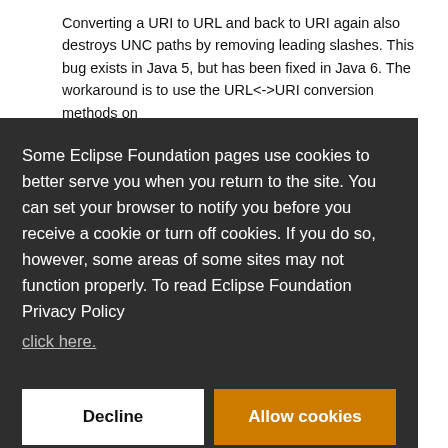Converting a URI to URL and back to URI again also destroys UNC paths by removing leading slashes. This bug exists in Java 5, but has been fixed in Java 6. The workaround is to use the URL<->URI conversion methods on
Some Eclipse Foundation pages use cookies to better serve you when you return to the site. You can set your browser to notify you before you receive a cookie or turn off cookies. If you do so, however, some areas of some sites may not function properly. To read Eclipse Foundation Privacy Policy click here.